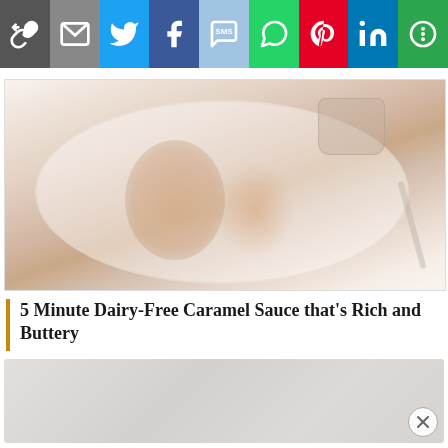[Figure (screenshot): Social media share toolbar with icons: link, email, Twitter, Facebook, SMS, WhatsApp, Pinterest, LinkedIn, More]
[Figure (photo): Faded/light photograph of food on a white plate — appears to show baked or grilled items with a sauce cup, on a white plate, with a fork visible at right]
5 Minute Dairy-Free Caramel Sauce that's Rich and Buttery
[Figure (screenshot): Advertisement block (grayed out content) at bottom of page with an X close button in the lower right corner]